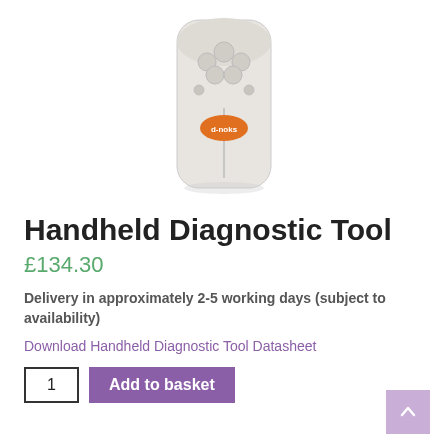[Figure (photo): Photo of a handheld diagnostic tool device — a white/cream-colored handheld device with multiple buttons on top and an orange oval brand logo labeled 'd-noks' on the front body.]
Handheld Diagnostic Tool
£134.30
Delivery in approximately 2-5 working days (subject to availability)
Download Handheld Diagnostic Tool Datasheet